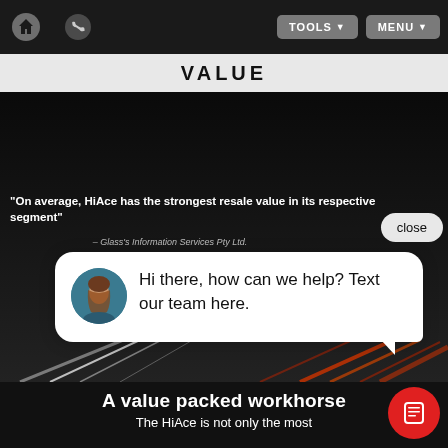Navigation bar with home icon, phone icon, TOOLS dropdown, MENU dropdown
VALUE
[Figure (screenshot): Dark automotive background image with road lines and motion blur]
"On average, HiAce has the strongest resale value in its respective segment"
– Glass's Information Services Pty Ltd.
[Figure (other): Chat popup with agent avatar and message: Hi there, how can we help? Text our team here. With close button.]
A value packed workhorse
The HiAce is not only the most